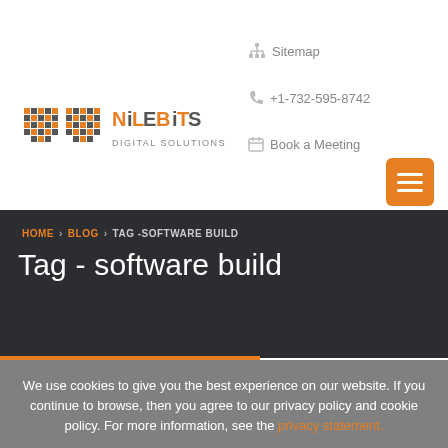[Figure (logo): NileBits Digital Solutions logo with orange pixel/grid icon and orange/gray text]
Sitemap
+1-732-595-8742
Book a Meeting
[Figure (other): Orange hamburger menu button with three white lines]
HOME > BLOG > TAG -SOFTWARE BUILD
Tag - software build
We use cookies to give you the best experience on our website. If you continue to browse, then you agree to our privacy policy and cookie policy. For more information, see the privacy statement.
Accept